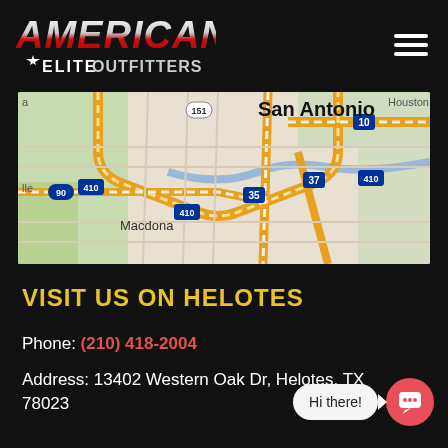[Figure (logo): American Elite Outfitters logo with American flag-styled lettering and star emblem]
[Figure (map): Google Maps screenshot showing San Antonio, TX area with highways 10, 35, 37, 90, 410 and localities including Macdona]
VISIT US ON HELOTES
Phone: (210) 418-2004
Address: 13402 Western Oak Dr, Helotes, TX 78023